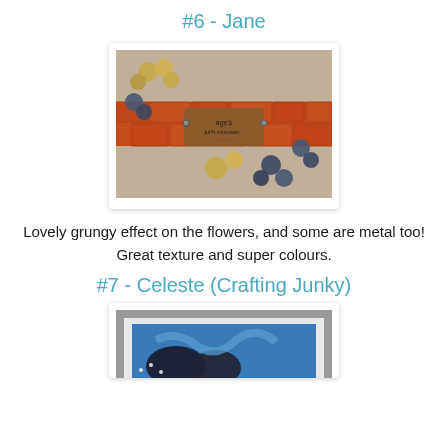#6 - Jane
[Figure (photo): Craft card with grungy floral decoration featuring golden and dark metallic flowers arranged on a textured background with a red brick strip across the middle and a decorative label tag.]
Lovely grungy effect on the flowers, and some are metal too! Great texture and super colours.
#7 - Celeste (Crafting Junky)
[Figure (photo): Craft artwork partially visible showing blue and black design with decorative elements on a grey matted background.]